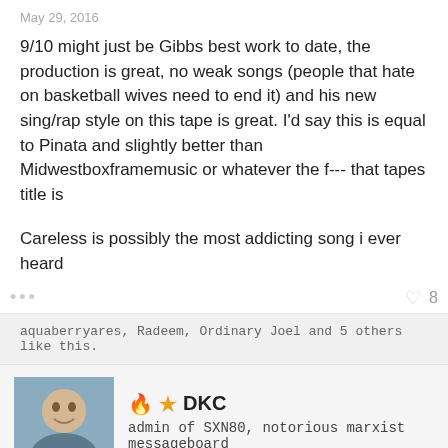May 29, 2016
9/10 might just be Gibbs best work to date, the production is great, no weak songs (people that hate on basketball wives need to end it) and his new sing/rap style on this tape is great. I'd say this is equal to Pinata and slightly better than Midwestboxframemusic or whatever the f--- that tapes title is
Careless is possibly the most addicting song i ever heard
aquaberryares, Radeem, Ordinary Joel and 5 others like this.
DKC
admin of SXN80, notorious marxist messageboard
Aug 12, 2016
Shwin said